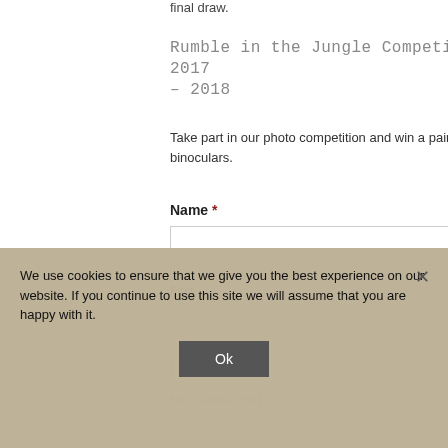final draw.
Rumble in the Jungle Competition 2017 – 2018
Take part in our photo competition and win a pair of Zeiss binoculars.
Name *
First
Last
Botswana holi...
We use cookies to ensure that we give you the best experience on our website. If you continue to use this site we will assume that you are happy with it.